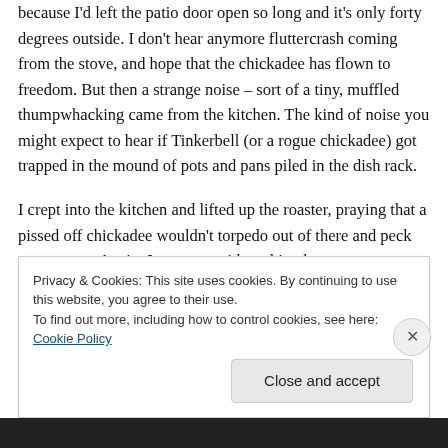because I'd left the patio door open so long and it's only forty degrees outside. I don't hear anymore fluttercrash coming from the stove, and hope that the chickadee has flown to freedom. But then a strange noise – sort of a tiny, muffled thumpwhacking came from the kitchen. The kind of noise you might expect to hear if Tinkerbell (or a rogue chickadee) got trapped in the mound of pots and pans piled in the dish rack.
I crept into the kitchen and lifted up the roaster, praying that a pissed off chickadee wouldn't torpedo out of there and peck out my eye. Again, I was met with nothing but
Privacy & Cookies: This site uses cookies. By continuing to use this website, you agree to their use.
To find out more, including how to control cookies, see here: Cookie Policy